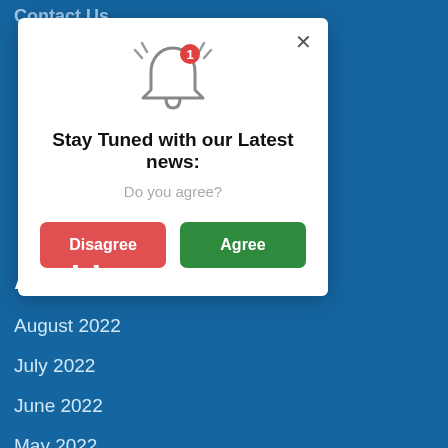Contact Us
[Figure (illustration): Bell notification icon with a red badge showing the number 1 and vibration lines on both sides]
Stay Tuned with our Latest news:
Do you agree?
Disagree
Agree
Archives
August 2022
July 2022
June 2022
May 2022
April 2022